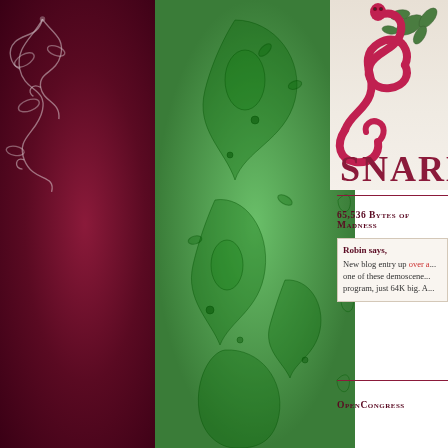[Figure (illustration): Dark maroon sidebar with white floral/scroll decorative elements on the left side]
[Figure (illustration): Green paisley patterned decorative panel in center-left area]
[Figure (illustration): Decorative snake wrapped around letter S logo with floral elements at top]
SNARK
65,536 Bytes of Madness
Robin says,

New blog entry up over a... one of these demoscene... program, just 64K big. A...
OpenCongress